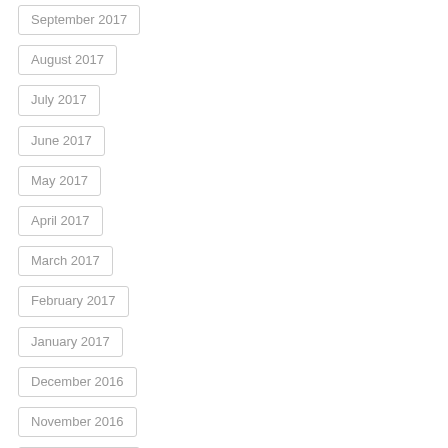September 2017
August 2017
July 2017
June 2017
May 2017
April 2017
March 2017
February 2017
January 2017
December 2016
November 2016
September 2016
July 2016
June 2016
May 2016